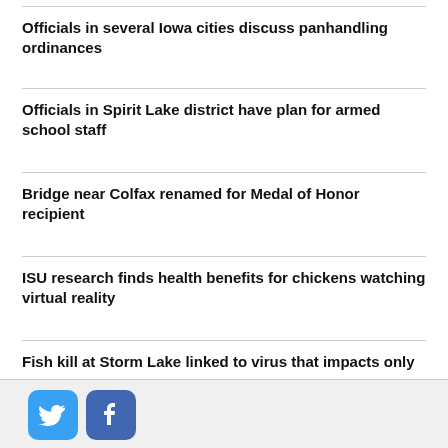Officials in several Iowa cities discuss panhandling ordinances
Officials in Spirit Lake district have plan for armed school staff
Bridge near Colfax renamed for Medal of Honor recipient
ISU research finds health benefits for chickens watching virtual reality
Fish kill at Storm Lake linked to virus that impacts only carp
[Figure (logo): Twitter and Facebook social media icons at the bottom of the page]